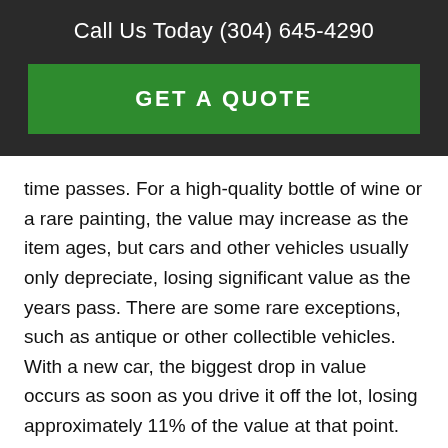Call Us Today (304) 645-4290
[Figure (other): Green GET A QUOTE button on dark background]
time passes. For a high-quality bottle of wine or a rare painting, the value may increase as the item ages, but cars and other vehicles usually only depreciate, losing significant value as the years pass. There are some rare exceptions, such as antique or other collectible vehicles. With a new car, the biggest drop in value occurs as soon as you drive it off the lot, losing approximately 11% of the value at that point. By the end of the first year you’ve owned the car, this figure will jump, on average, to 19% of the car’s original value. If you’ve purchased a new car you’re probably aware of